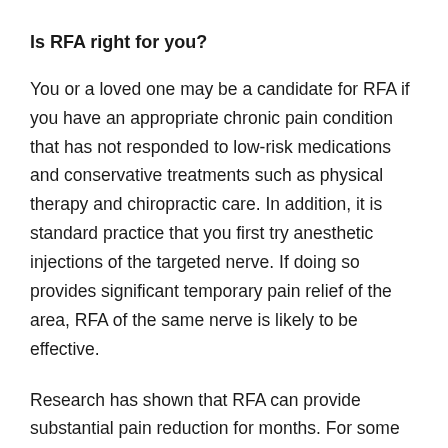Is RFA right for you?
You or a loved one may be a candidate for RFA if you have an appropriate chronic pain condition that has not responded to low-risk medications and conservative treatments such as physical therapy and chiropractic care. In addition, it is standard practice that you first try anesthetic injections of the targeted nerve. If doing so provides significant temporary pain relief of the area, RFA of the same nerve is likely to be effective.
Research has shown that RFA can provide substantial pain reduction for months. For some patients, the relief may be permanent as they are able to go years without requiring additional treatments. RFA may also allow patients to reduce or stop their use of some medications.